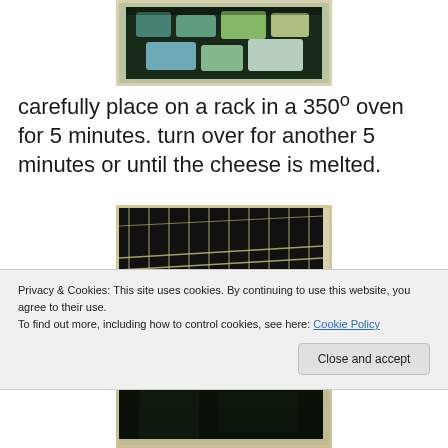[Figure (photo): Photo of colorful cheese blocks (blue, green, yellow, white) on a dark surface with a light-colored border frame]
carefully place on a rack in a 350º oven for 5 minutes. turn over for another 5 minutes or until the cheese is melted.
[Figure (photo): Photo of bread or food item on an oven rack inside a dark oven, with grid rack lines visible]
Privacy & Cookies: This site uses cookies. By continuing to use this website, you agree to their use.
To find out more, including how to control cookies, see here: Cookie Policy
[Figure (photo): Partial photo of a dark food item, cut off at bottom of page]